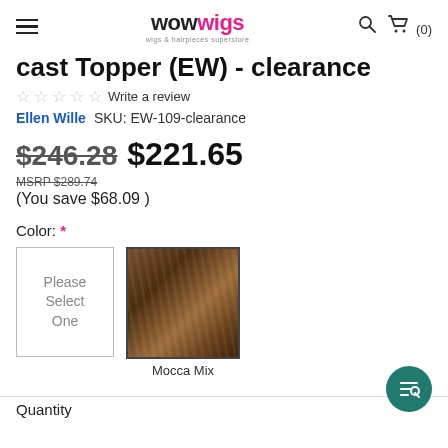wowwigs — wigs & hairpieces superstore
Cast Topper (EW) - Clearance
☆☆☆☆☆ Write a review
Ellen Wille   SKU: EW-109-clearance
$246.28 $221.65
MSRP $289.74
(You save $68.09 )
Color: *
[Figure (photo): Color swatch showing Please Select One placeholder box and a Mocca Mix hair color swatch]
Quantity